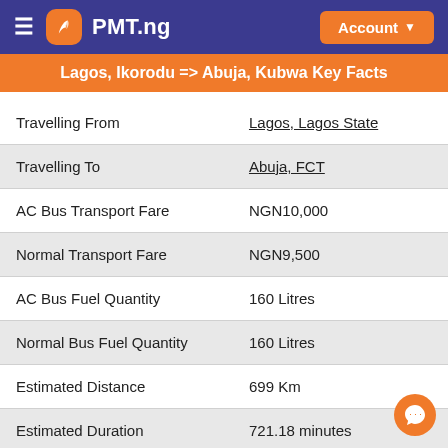PMT.ng — Account
Lagos, Ikorodu => Abuja, Kubwa Key Facts
|  |  |
| --- | --- |
| Travelling From | Lagos, Lagos State |
| Travelling To | Abuja, FCT |
| AC Bus Transport Fare | NGN10,000 |
| Normal Transport Fare | NGN9,500 |
| AC Bus Fuel Quantity | 160 Litres |
| Normal Bus Fuel Quantity | 160 Litres |
| Estimated Distance | 699 Km |
| Estimated Duration | 721.18 minutes |
| PMT Online Booking | true |